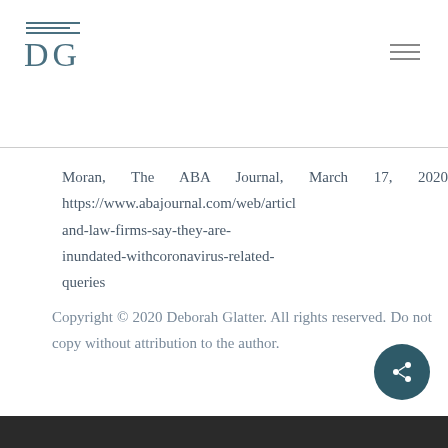DG logo header with navigation
Moran, The ABA Journal, March 17, 2020 https://www.abajournal.com/web/article/and-law-firms-say-they-are-inundated-withcoronavirus-related-queries
Copyright © 2020 Deborah Glatter. All rights reserved. Do not copy without attribution to the author.